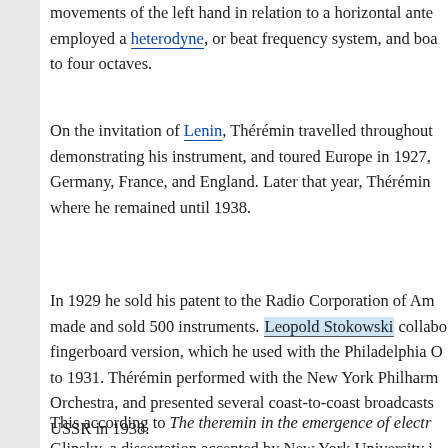movements of the left hand in relation to a horizontal ante... employed a heterodyne, or beat frequency system, and boa... to four octaves.
On the invitation of Lenin, Thérémin travelled throughout... demonstrating his instrument, and toured Europe in 1927, Germany, France, and England. Later that year, Thérémin... where he remained until 1938.
In 1929 he sold his patent to the Radio Corporation of Am... made and sold 500 instruments. Leopold Stokowski collabo... fingerboard version, which he used with the Philadelphia O... to 1931. Thérémin performed with the New York Philharm... Orchestra, and presented several coast-to-coast broadcasts... USSR in 1938.
This according to The theremin in the emergence of electr... Glinsky, a dissertation accepted by New York University i...